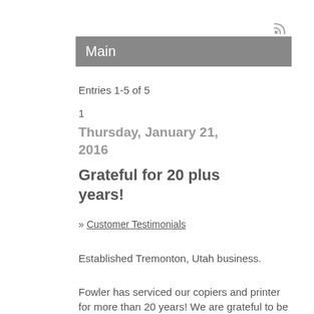[Figure (other): RSS feed icon in top right corner]
Main
Entries 1-5 of 5
1
Thursday, January 21, 2016
Grateful for 20 plus years!
» Customer Testimonials
Established Tremonton, Utah business.
Fowler has serviced our copiers and printer for more than 20 years! We are grateful to be involved and get to know the printer. It is nice to